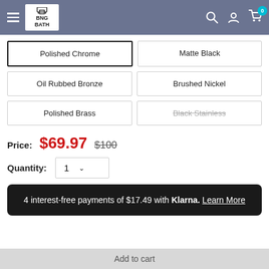BNG BATH
Polished Chrome (selected)
Matte Black
Oil Rubbed Bronze
Brushed Nickel
Polished Brass
Black Stainless (unavailable)
Price: $69.97  $100
Quantity: 1
4 interest-free payments of $17.49 with Klarna. Learn More
Add to cart